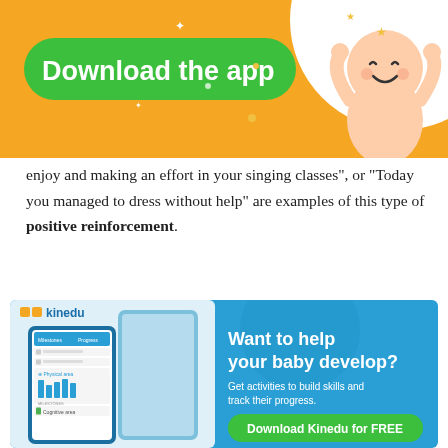[Figure (infographic): Orange banner with green 'Download the app' button, cartoon baby illustration, close X button, and star decorations]
enjoy and making an effort in your singing classes", or "Today you managed to dress without help" are examples of this type of positive reinforcement.
But not only that. Dweck also stresses the importance of setting clear goals and working towards achieving them, and not just rewarding hard work and effort.
[Figure (infographic): Kinedu app advertisement banner with phone mockup, 'Want to help your baby develop?' headline, subtext 'Get activities to build skills and track their progress.', and 'Download Kinedu for FREE' green button]